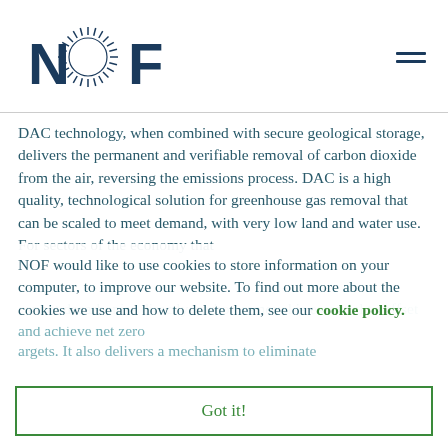[Figure (logo): NOF logo with circular sunburst graphic]
DAC technology, when combined with secure geological storage, delivers the permanent and verifiable removal of carbon dioxide from the air, reversing the emissions process. DAC is a high quality, technological solution for greenhouse gas removal that can be scaled to meet demand, with very low land and water use. For sectors of the economy that
NOF would like to use cookies to store information on your computer, to improve our website. To find out more about the cookies we use and how to delete them, see our cookie policy.
Got it!